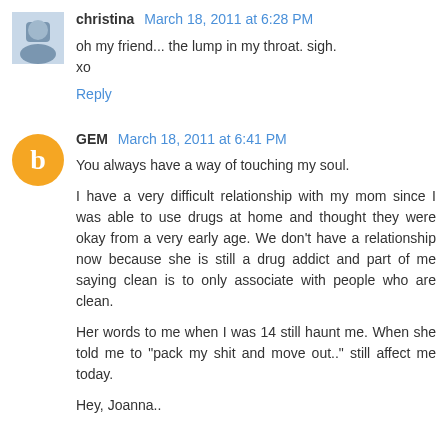christina March 18, 2011 at 6:28 PM
oh my friend... the lump in my throat. sigh.
xo
Reply
GEM March 18, 2011 at 6:41 PM
You always have a way of touching my soul.
I have a very difficult relationship with my mom since I was able to use drugs at home and thought they were okay from a very early age. We don't have a relationship now because she is still a drug addict and part of me saying clean is to only associate with people who are clean.
Her words to me when I was 14 still haunt me. When she told me to "pack my shit and move out.." still affect me today.
Hey, Joanna..